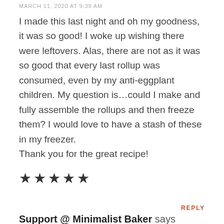MARCH 11, 2020 AT 9:39 AM
I made this last night and oh my goodness, it was so good! I woke up wishing there were leftovers. Alas, there are not as it was so good that every last rollup was consumed, even by my anti-eggplant children. My question is…could I make and fully assemble the rollups and then freeze them? I would love to have a stash of these in my freezer.
Thank you for the great recipe!
[Figure (other): Five black filled star icons representing a 5-star rating]
REPLY
Support @ Minimalist Baker says
MARCH 11, 2020 AT 10:33 AM
Yay- we're so glad everyone enjoyed it! We haven't